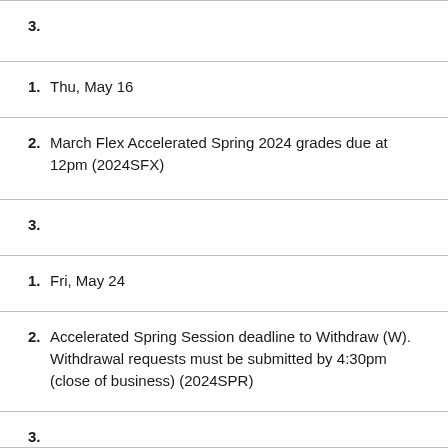3.
1. Thu, May 16
2. March Flex Accelerated Spring 2024 grades due at 12pm (2024SFX)
3.
1. Fri, May 24
2. Accelerated Spring Session deadline to Withdraw (W). Withdrawal requests must be submitted by 4:30pm (close of business) (2024SPR)
3.